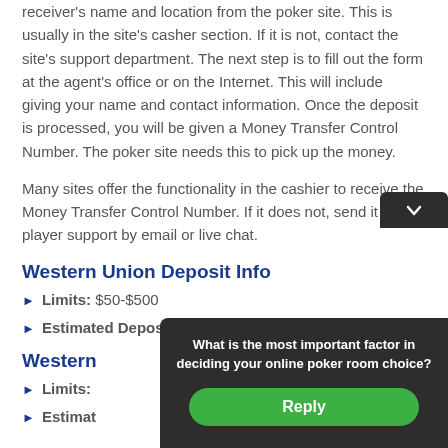receiver's name and location from the poker site. This is usually in the site's casher section. If it is not, contact the site's support department. The next step is to fill out the form at the agent's office or on the Internet. This will include giving your name and contact information. Once the deposit is processed, you will be given a Money Transfer Control Number. The poker site needs this to pick up the money.
Many sites offer the functionality in the cashier to receive the Money Transfer Control Number. If it does not, send it to player support by email or live chat.
Western Union Deposit Info
Limits: $50-$500
Estimated Deposit Time: 1-6 Hours
Western ...
Limits: ...
Estimated ...
[Figure (other): Modal popup overlay asking 'What is the most important factor in deciding your online poker room choice?' with a green Reply button]